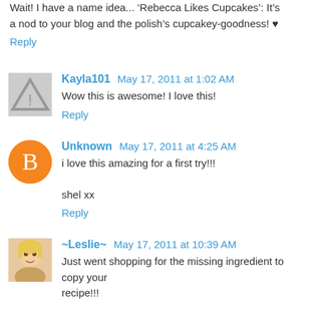Wait! I have a name idea... 'Rebecca Likes Cupcakes': It's a nod to your blog and the polish's cupcakey-goodness! ♥
Reply
Kayla101 May 17, 2011 at 1:02 AM
Wow this is awesome! I love this!
Reply
Unknown May 17, 2011 at 4:25 AM
i love this amazing for a first try!!!

shel xx
Reply
~Leslie~ May 17, 2011 at 10:39 AM
Just went shopping for the missing ingredient to copy your recipe!!!